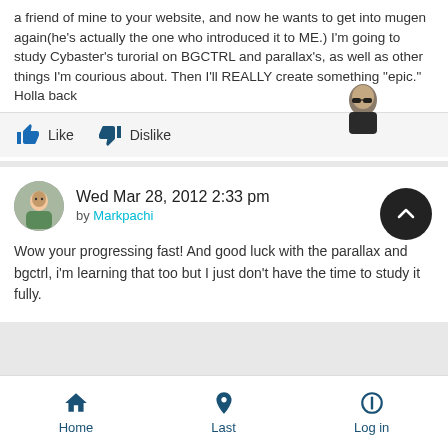a friend of mine to your website, and now he wants to get into mugen again(he's actually the one who introduced it to ME.) I'm going to study Cybaster's turorial on BGCTRL and parallax's, as well as other things I'm courious about. Then I'll REALLY create something "epic." Holla back
Like   Dislike
Wed Mar 28, 2012 2:33 pm
by Markpachi
Wow your progressing fast! And good luck with the parallax and bgctrl, i'm learning that too but I just don't have the time to study it fully.
Home   Last   Log in